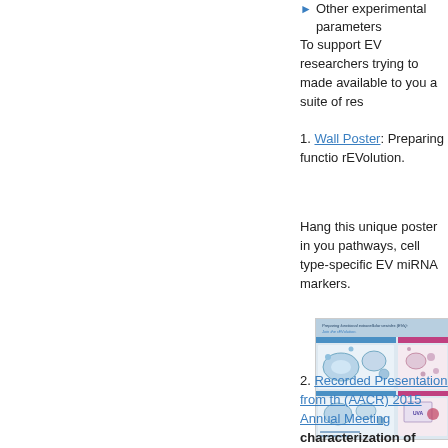Other experimental parameters
To support EV researchers trying to made available to you a suite of res
1. Wall Poster: Preparing functio rEVolution.
Hang this unique poster in you pathways, cell type-specific EV miRNA markers.
[Figure (illustration): Wall poster thumbnail showing 'Preparing functional extracellular vesicles (EVs): Join the rEVolution.' scientific poster with diagrams of EV biogenesis pathways.]
2. Recorded Presentation from the (AACR) 2015 Annual Meeting characterization of microves